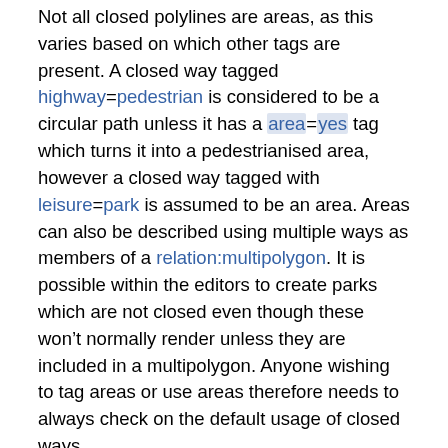Not all closed polylines are areas, as this varies based on which other tags are present. A closed way tagged highway=pedestrian is considered to be a circular path unless it has a area=yes tag which turns it into a pedestrianised area, however a closed way tagged with leisure=park is assumed to be an area. Areas can also be described using multiple ways as members of a relation:multipolygon. It is possible within the editors to create parks which are not closed even though these won't normally render unless they are included in a multipolygon. Anyone wishing to tag areas or use areas therefore needs to always check on the default usage of closed ways.
This set of wiki pages describes the problems and confusions created by the current model and suggests some alternative proposed approaches to model areas more clearly, flexibly and simply.